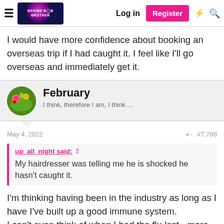Behind Big Brother | Log in | Register
I would have more confidence about booking an overseas trip if I had caught it. I feel like I'll go overseas and immediately get it.
February
I think, therefore I am, I think ...
May 4, 2022  #7,788
up_all_night said: My hairdresser was telling me he is shocked he hasn't caught it.
I'm thinking having been in the industry as long as I have I've built up a good immune system.
I can't even think of when I had the flu last - more than 20 years if not longer. And the amount of people pre-covid who took the day off cos they are full of the flu and came into the salon to get